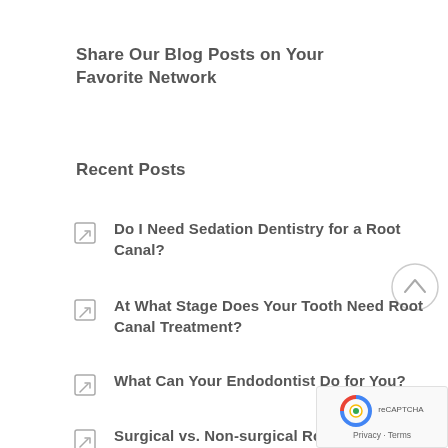Share Our Blog Posts on Your Favorite Network
Recent Posts
Do I Need Sedation Dentistry for a Root Canal?
At What Stage Does Your Tooth Need Root Canal Treatment?
What Can Your Endodontist Do for You?
Surgical vs. Non-surgical Root Canal Therapy